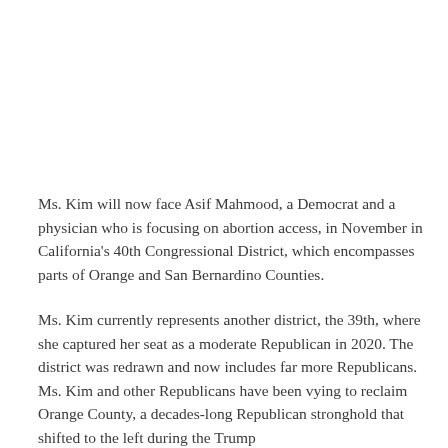Ms. Kim will now face Asif Mahmood, a Democrat and a physician who is focusing on abortion access, in November in California's 40th Congressional District, which encompasses parts of Orange and San Bernardino Counties.
Ms. Kim currently represents another district, the 39th, where she captured her seat as a moderate Republican in 2020. The district was redrawn and now includes far more Republicans. Ms. Kim and other Republicans have been vying to reclaim Orange County, a decades-long Republican stronghold that shifted to the left during the Trump